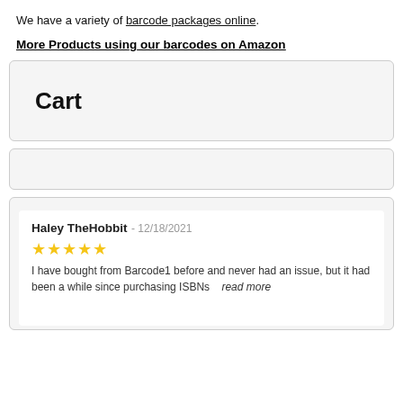We have a variety of barcode packages online.
More Products using our barcodes on Amazon
Cart
Haley TheHobbit - 12/18/2021
★★★★★
I have bought from Barcode1 before and never had an issue, but it had been a while since purchasing ISBNs    read more